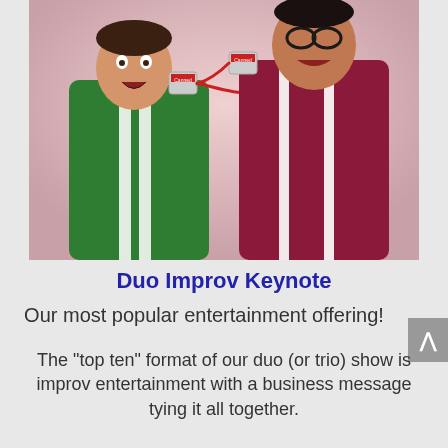[Figure (photo): Two men using tin can telephone. Man on left wears green jacket with white stripes; man on right wears maroon/burgundy shirt with white suspenders and glasses. Pink/light background. Both holding cans connected by red string to their ears/mouths with exaggerated expressions.]
Duo Improv Keynote
Our most popular entertainment offering!
The "top ten" format of our duo (or trio) show is improv entertainment with a business message tying it all together.